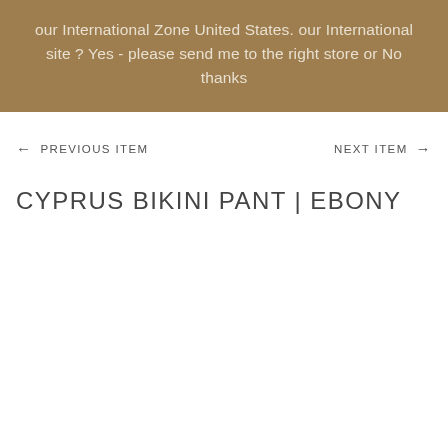our International Zone United States. our International site ? Yes - please send me to the right store or No thanks
← PREVIOUS ITEM    NEXT ITEM →
CYPRUS BIKINI PANT | EBONY